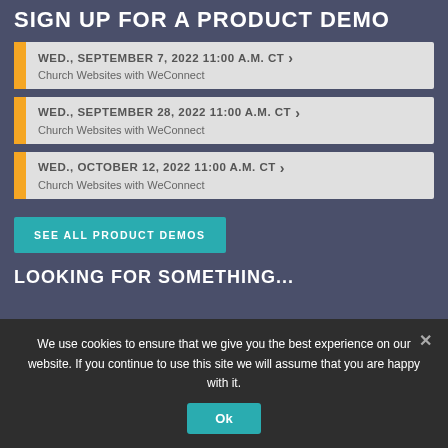SIGN UP FOR A PRODUCT DEMO
WED., SEPTEMBER 7, 2022 11:00 A.M. CT — Church Websites with WeConnect
WED., SEPTEMBER 28, 2022 11:00 A.M. CT — Church Websites with WeConnect
WED., OCTOBER 12, 2022 11:00 A.M. CT — Church Websites with WeConnect
SEE ALL PRODUCT DEMOS
LOOKING FOR SOMETHING...
We use cookies to ensure that we give you the best experience on our website. If you continue to use this site we will assume that you are happy with it.
Ok